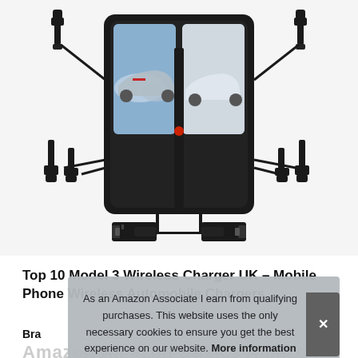[Figure (photo): Product image of a wireless phone charger device (black rectangular pad with two slots for smartphones, showing cars on phone screens, with USB cables coming out of the bottom connecting to two USB plugs, and additional cable adapters on the sides)]
Top 10 Model 3 Wireless Charger UK – Mobile Phone Wireless Automobile Chargers
Bra
Amazon Amazon Basics AmazonBasics
As an Amazon Associate I earn from qualifying purchases. This website uses the only necessary cookies to ensure you get the best experience on our website. More information